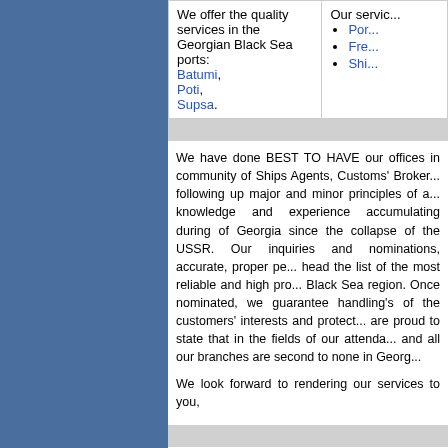We offer the quality services in the Georgian Black Sea ports: Batumi, Poti, Supsa.
Our services: Port agency, Freight forwarding, Ship chandling
We have done BEST TO HAVE our offices in community of Ships Agents, Customs' Brokers, following up major and minor principles of agents knowledge and experience accumulating during of Georgia since the collapse of the USSR. Our inquiries and nominations, accurate, proper pe... head the list of the most reliable and high pro... Black Sea region. Once nominated, we guarantee handling's of the customers' interests and protect... are proud to state that in the fields of our attenda... and all our branches are second to none in Georg...
We look forward to rendering our services to you,
FIATA